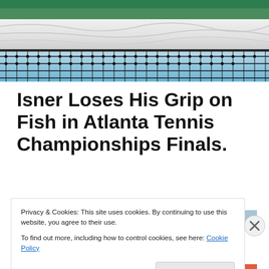[Figure (photo): Close-up photo of a tennis net showing the white fabric top band with black rope netting below, against a blue sky background.]
Isner Loses His Grip on Fish in Atlanta Tennis Championships Finals.
[Figure (photo): Partial view of a second photo strip below the title, showing colorful imagery related to tennis or the article.]
Privacy & Cookies: This site uses cookies. By continuing to use this website, you agree to their use.
To find out more, including how to control cookies, see here: Cookie Policy
Close and accept